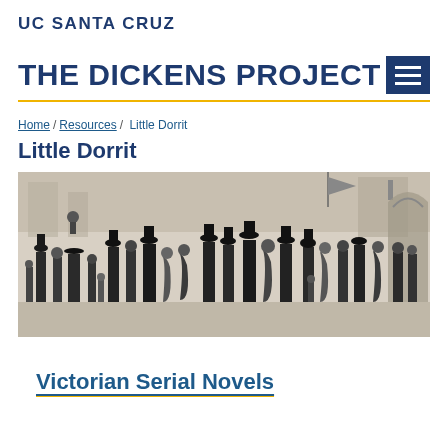UC SANTA CRUZ
THE DICKENS PROJECT
Home / Resources / Little Dorrit
Little Dorrit
[Figure (illustration): Victorian era engraving showing a large crowd of people in 19th century clothing gathered together, including men in top hats and coats and women in period dress, a wide panoramic scene.]
Victorian Serial Novels